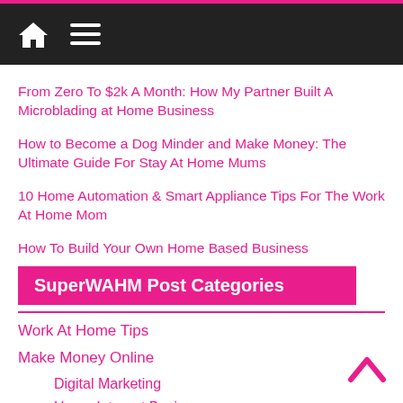Navigation bar with home icon and menu icon
From Zero To $2k A Month: How My Partner Built A Microblading at Home Business
How to Become a Dog Minder and Make Money: The Ultimate Guide For Stay At Home Mums
10 Home Automation & Smart Appliance Tips For The Work At Home Mom
How To Build Your Own Home Based Business
SuperWAHM Post Categories
Work At Home Tips
Make Money Online
Digital Marketing
Home Internet Business